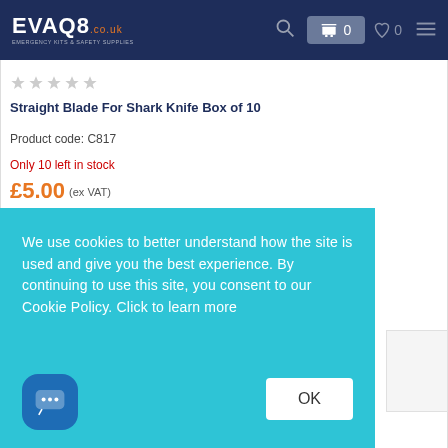EVAQ8 .co.uk EMERGENCY KITS & SAFETY SUPPLIES — Search — Cart 0 — Wishlist 0 — Menu
[Figure (other): Star rating: 5 empty stars]
Straight Blade For Shark Knife Box of 10
Product code: C817
Only 10 left in stock
£5.00 (ex VAT)
We use cookies to better understand how the site is used and give you the best experience. By continuing to use this site, you consent to our Cookie Policy. Click to learn more